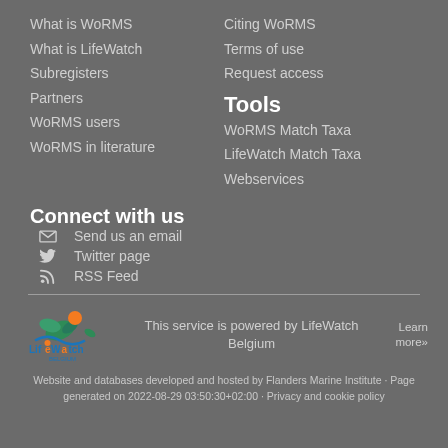What is WoRMS
What is LifeWatch
Subregisters
Partners
WoRMS users
WoRMS in literature
Citing WoRMS
Terms of use
Request access
Tools
WoRMS Match Taxa
LifeWatch Match Taxa
Webservices
Connect with us
Send us an email
Twitter page
RSS Feed
[Figure (logo): LifeWatch Belgium logo]
This service is powered by LifeWatch Belgium
Learn more»
Website and databases developed and hosted by Flanders Marine Institute · Page generated on 2022-08-29 03:50:30+02:00 · Privacy and cookie policy